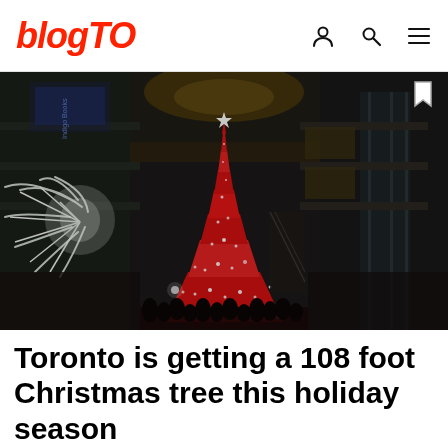blogTO
[Figure (photo): Large decorated Christmas tree inside a shopping mall atrium (Eaton Centre Toronto), surrounded by crowds of people. White decorative light sculptures visible on the left. Multi-story mall interior with glass ceiling and storefronts.]
Toronto is getting a 108 foot Christmas tree this holiday season